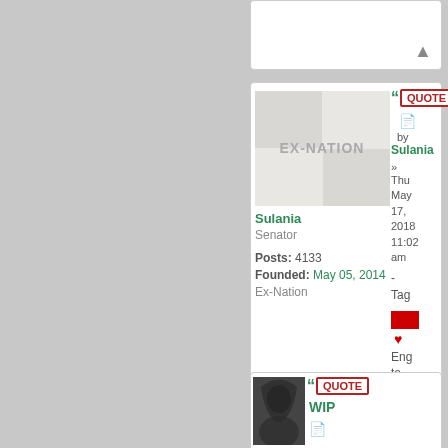[Figure (screenshot): Forum post card showing user Sulania with EX-NATION avatar, Senator rank, 4133 posts, founded May 05 2014. Post dated Thu May 17, 2018 11:02 am. Includes quote button, reaction icons (red rectangle, hearts), and signature elements.]
Sulania
Senator
Posts: 4133
Founded: May 05, 2014
Ex-Nation
QUOTE
by Sulania
Thu May 17, 2018 11:02 am
- Tag
Eng to Kal
WIP